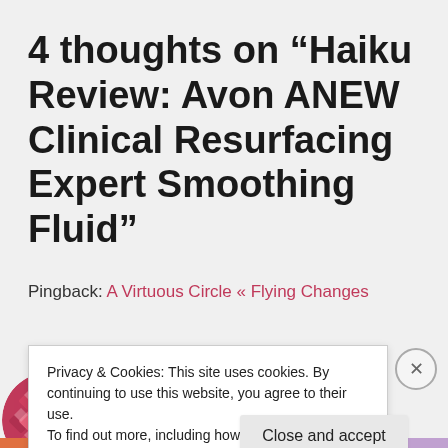4 thoughts on “Haiku Review: Avon ANEW Clinical Resurfacing Expert Smoothing Fluid”
Pingback: A Virtuous Circle « Flying Changes
Privacy & Cookies: This site uses cookies. By continuing to use this website, you agree to their use.
To find out more, including how to control cookies, see here: Cookie Policy
Close and accept